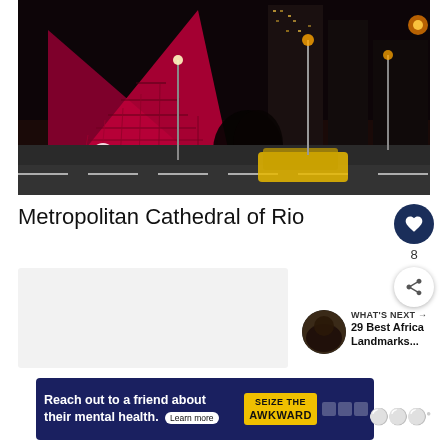[Figure (photo): Night photo of the Metropolitan Cathedral of Rio de Janeiro, lit in red/pink, with a busy road in front featuring a blurred yellow taxi, city lights and skyscrapers in the background]
Metropolitan Cathedral of Rio
8
[Figure (screenshot): What's Next panel showing a thumbnail and text: WHAT'S NEXT → 29 Best Africa Landmarks...]
[Figure (photo): Advertisement banner: Reach out to a friend about their mental health. Learn more | SEIZE THE AWKWARD]